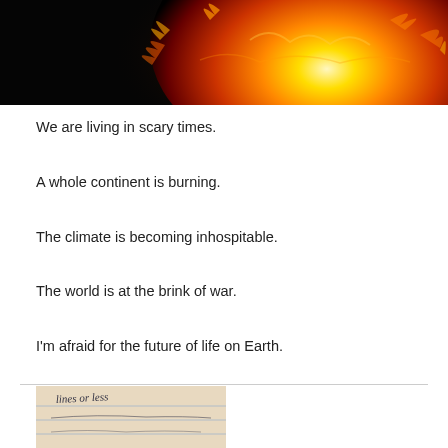[Figure (photo): Close-up of what appears to be a fiery celestial body (sun or burning planet) with orange and yellow flames/corona against a dark/black background.]
We are living in scary times.
A whole continent is burning.
The climate is becoming inhospitable.
The world is at the brink of war.
I'm afraid for the future of life on Earth.
[Figure (photo): A handwritten note on lined paper with the words 'lines or less' visible in cursive handwriting.]
Written for the Friday Five Lines or Less prompt